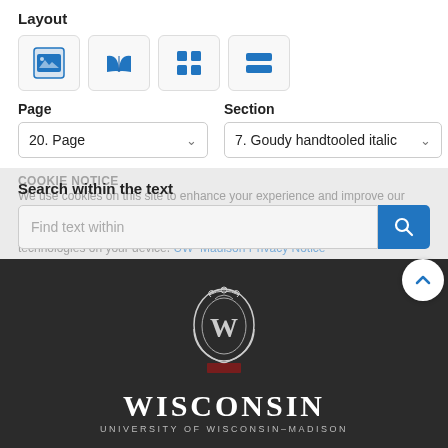Layout
[Figure (screenshot): Four layout icon buttons: image/slideshow, book/open-book, grid, and horizontal-lines layout options]
Page
20. Page
Section
7. Goudy handtooled italic
Search within the text
Find text within
COOKIE NOTICE
We use cookies on this site to enhance your experience and improve our library services. By continuing to browse without changing your browser settings to block or delete cookies, you agree to the storing of cookies and related technologies on your device. UW–Madison Privacy Notice
[Figure (logo): University of Wisconsin-Madison crest with W emblem, WISCONSIN text, and UNIVERSITY OF WISCONSIN-MADISON subtitle on dark background]